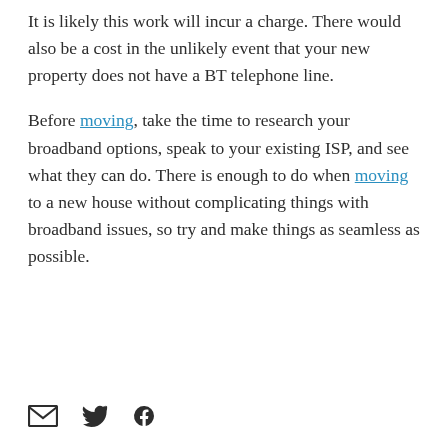It is likely this work will incur a charge. There would also be a cost in the unlikely event that your new property does not have a BT telephone line.
Before moving, take the time to research your broadband options, speak to your existing ISP, and see what they can do. There is enough to do when moving to a new house without complicating things with broadband issues, so try and make things as seamless as possible.
[Figure (other): Social sharing icons: email (envelope), Twitter (bird), Facebook (f logo)]